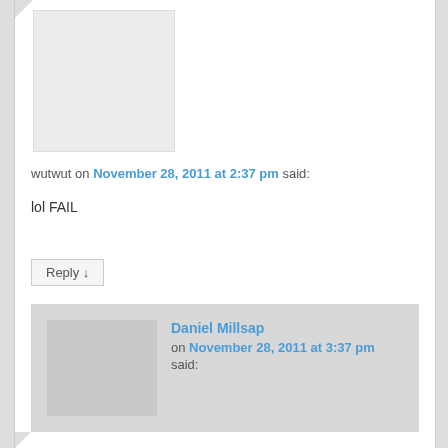[Figure (other): User avatar placeholder box (gray square)]
wutwut on November 28, 2011 at 2:37 pm said:
lol FAIL
Reply ↓
Daniel Millsap
on November 28, 2011 at 3:37 pm said:
super fail
Reply ↓